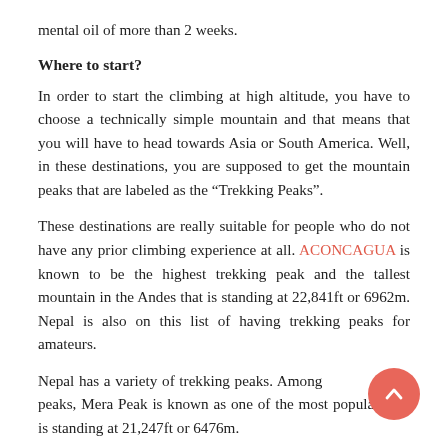mental oil of more than 2 weeks.
Where to start?
In order to start the climbing at high altitude, you have to choose a technically simple mountain and that means that you will have to head towards Asia or South America. Well, in these destinations, you are supposed to get the mountain peaks that are labeled as the “Trekking Peaks”.
These destinations are really suitable for people who do not have any prior climbing experience at all. ACONCAGUA is known to be the highest trekking peak and the tallest mountain in the Andes that is standing at 22,841ft or 6962m. Nepal is also on this list of having trekking peaks for amateurs.
Nepal has a variety of trekking peaks. Among these peaks, Mera Peak is known as one of the most popular as it is standing at 21,247ft or 6476m.